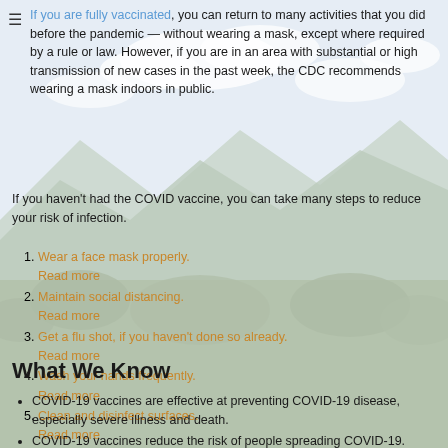If you are fully vaccinated, you can return to many activities that you did before the pandemic — without wearing a mask, except where required by a rule or law. However, if you are in an area with substantial or high transmission of new cases in the past week, the CDC recommends wearing a mask indoors in public.
If you haven't had the COVID vaccine, you can take many steps to reduce your risk of infection.
1. Wear a face mask properly. Read more
2. Maintain social distancing. Read more
3. Get a flu shot, if you haven't done so already. Read more
4. Wash your hands frequently. Read more
5. Clean and disinfect surfaces. Read more
What We Know
COVID-19 vaccines are effective at preventing COVID-19 disease, especially severe illness and death.
COVID-19 vaccines reduce the risk of people spreading COVID-19.
The Delta Variant is more infectious.